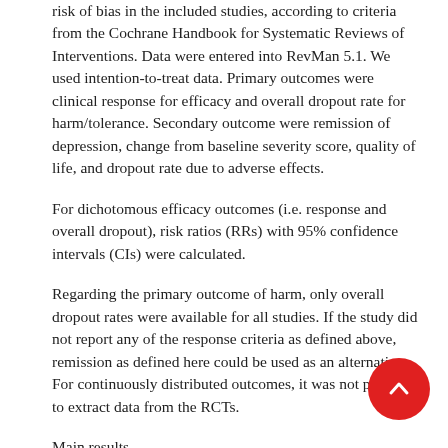risk of bias in the included studies, according to criteria from the Cochrane Handbook for Systematic Reviews of Interventions. Data were entered into RevMan 5.1. We used intention-to-treat data. Primary outcomes were clinical response for efficacy and overall dropout rate for harm/tolerance. Secondary outcome were remission of depression, change from baseline severity score, quality of life, and dropout rate due to adverse effects.
For dichotomous efficacy outcomes (i.e. response and overall dropout), risk ratios (RRs) with 95% confidence intervals (CIs) were calculated.
Regarding the primary outcome of harm, only overall dropout rates were available for all studies. If the study did not report any of the response criteria as defined above, remission as defined here could be used as an alternative. For continuously distributed outcomes, it was not possible to extract data from the RCTs.
Main results
The search identified 3947 abstracts, but only 12 RCTs with a total of 929 participants could be included in the review. Because of clinical heterogeneity, few meta-analyses were possible. The